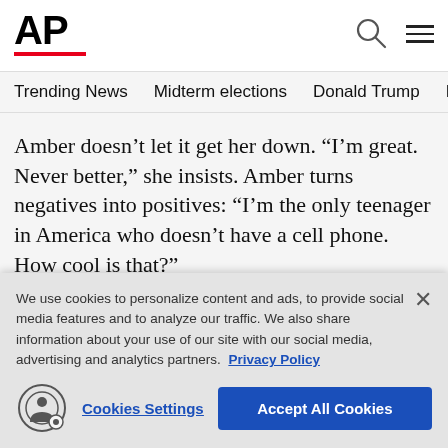[Figure (logo): AP (Associated Press) logo with red underline, search icon, and hamburger menu icon]
Trending News   Midterm elections   Donald Trump   Russia-Ukr
Amber doesn't let it get her down. “I’m great. Never better,” she insists. Amber turns negatives into positives: “I’m the only teenager in America who doesn’t have a cell phone. How cool is that?”
Mom (an excellent Justina Machado) frets about the future and considers returning to an abusive man just
We use cookies to personalize content and ads, to provide social media features and to analyze our traffic. We also share information about your use of our site with our social media, advertising and analytics partners. Privacy Policy
Cookies Settings
Accept All Cookies